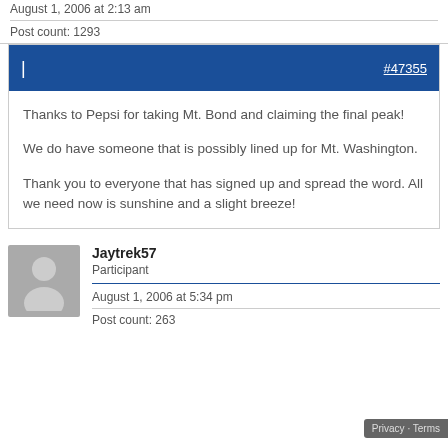August 1, 2006 at 2:13 am
Post count: 1293
#47355
Thanks to Pepsi for taking Mt. Bond and claiming the final peak!

We do have someone that is possibly lined up for Mt. Washington.

Thank you to everyone that has signed up and spread the word. All we need now is sunshine and a slight breeze!
Jaytrek57
Participant
August 1, 2006 at 5:34 pm
Post count: 263